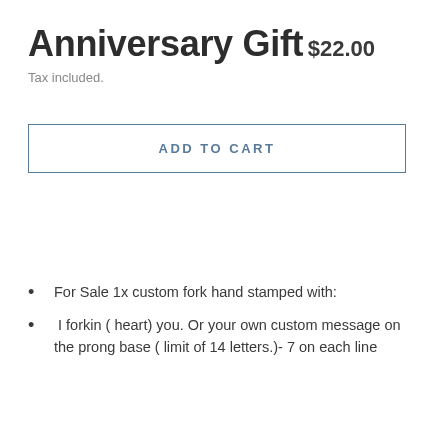Anniversary Gift
$22.00
Tax included.
ADD TO CART
For Sale 1x custom fork hand stamped with:
I forkin ( heart) you. Or your own custom message on the prong base ( limit of 14 letters.)- 7 on each line